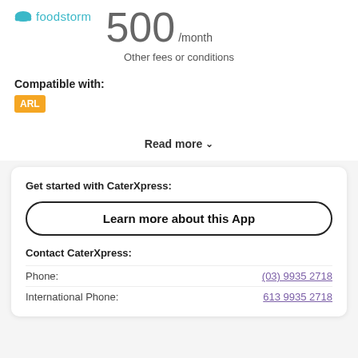[Figure (logo): Foodstorm logo with teal cloud icon and teal text 'foodstorm']
500 /month
Other fees or conditions
Compatible with:
[Figure (other): ARL badge - orange/amber square badge with white text 'ARL']
Read more ˅
Get started with CaterXpress:
Learn more about this App
Contact CaterXpress:
Phone: (03) 9935 2718
International Phone: 613 9935 2718